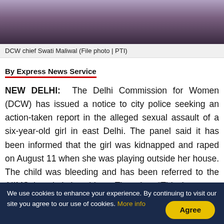[Figure (photo): Photo of DCW chief Swati Maliwal, a woman in blue and pink clothing]
DCW chief Swati Maliwal (File photo | PTI)
By Express News Service
NEW DELHI:  The Delhi Commission for Women (DCW) has issued a notice to city police seeking an action-taken report in the alleged sexual assault of a six-year-old girl in east Delhi. The panel said it has been informed that the girl was kidnapped and raped on August 11 when she was playing outside her house. The child was bleeding and has been referred to the AIIMS hospital, it said on Thursday. “This is a very serious matter,” it said.
We use cookies to enhance your experience. By continuing to visit our site you agree to our use of cookies. More info